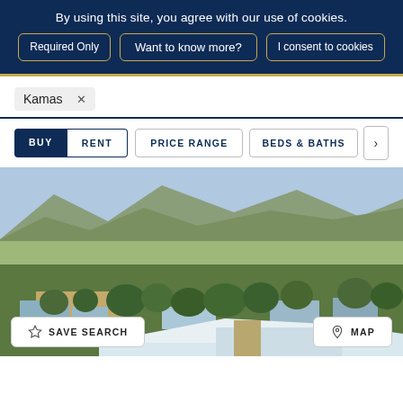By using this site, you agree with our use of cookies.
Required Only
Want to know more?
I consent to cookies
Kamas ×
BUY  RENT  PRICE RANGE  BEDS & BATHS  >
[Figure (photo): Aerial view of the town of Kamas, Utah, showing residential homes surrounded by trees, open fields, and mountains in the background]
☆ SAVE SEARCH
⊙ MAP